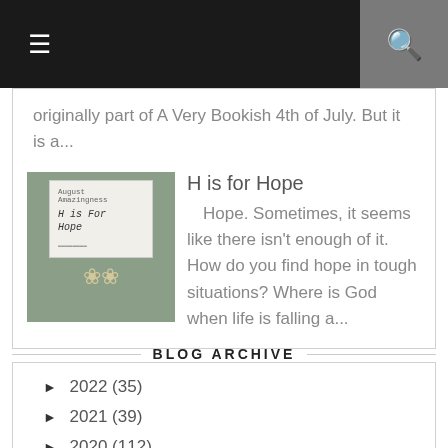≡  🔍
originally part of A Very Bookish 4th of July. But it is a...
[Figure (photo): Thumbnail image showing a handwritten card reading 'H is For Hope' with flowers, on a dark background.]
H is for Hope
Hope. Sometimes, it seems like there isn't enough of it. How do you find hope in tough situations? Where is God when life is falling a...
BLOG ARCHIVE
► 2022 (35)
► 2021 (39)
► 2020 (112)